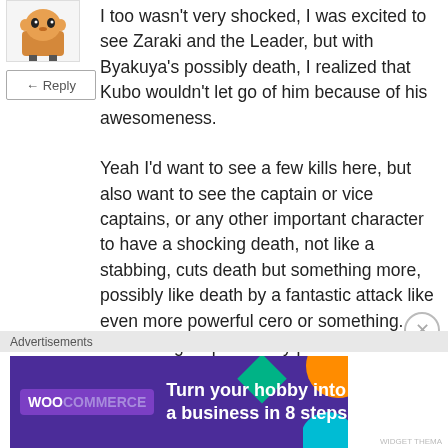[Figure (illustration): Cartoon avatar image of a character with orange/brown coloring, shown in a small square thumbnail]
Reply
I too wasn't very shocked, I was excited to see Zaraki and the Leader, but with Byakuya's possibly death, I realized that Kubo wouldn't let go of him because of his awesomeness.

Yeah I'd want to see a few kills here, but also want to see the captain or vice captains, or any other important character to have a shocking death, not like a stabbing, cuts death but something more, possibly like death by a fantastic attack like even more powerful cero or something.... Something stupendously powerful!!
Advertisements
[Figure (screenshot): WooCommerce advertisement banner with purple background, WooCommerce logo on left, text 'Turn your hobby into a business in 8 steps' on right, decorative colored shapes in corners]